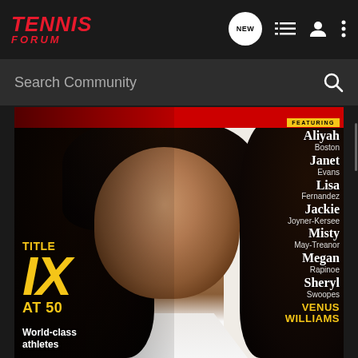[Figure (screenshot): Tennis Forum mobile app navigation bar with red italic logo 'TENNIS FORUM' on left, and icons (NEW chat bubble, list, profile, more) on right against dark background]
Search Community
[Figure (photo): Magazine cover featuring a woman with voluminous curly black hair on a light background. Left side shows 'TITLE IX AT 50' in large gold/yellow text and 'World-class athletes' in white. Right side shows 'FEATURING' badge in yellow and a list of athletes: Aliyah Boston, Janet Evans, Lisa Fernandez, Jackie Joyner-Kersee, Misty May-Treanor, Megan Rapinoe, Sheryl Swoopes, VENUS WILLIAMS (in yellow).]